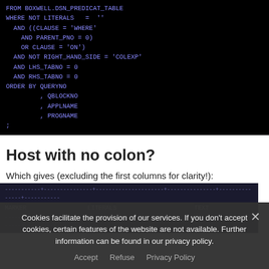[Figure (screenshot): Dark terminal/code block showing SQL query: FROM BOXWELL.DSN_PREDICAT_TABLE WHERE NOT LITERALS = '' AND ((CLAUSE = 'WHERE' AND PARENT_PNO = 0) OR CLAUSE = 'ON') AND NOT RIGHT_HAND_SIDE = 'COLEXP' AND LHS_TABNO = 0 AND RHS_TABNO = 0 ORDER BY QUERYNO , QBLOCKNO , APPLNAME , PROGNAME ;]
Host with no colon?
Which gives (excluding the first columns for clarity!):
[Figure (screenshot): Dark table header showing columns: MARKER, LITERALS, TEXT with dashed divider lines]
Cookies facilitate the provision of our services. If you don't accept cookies, certain features of the website are not available. Further information can be found in our privacy policy.